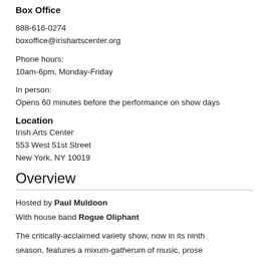Box Office
888-616-0274
boxoffice@irishartscenter.org
Phone hours:
10am-6pm, Monday-Friday
In person:
Opens 60 minutes before the performance on show days
Location
Irish Arts Center
553 West 51st Street
New York, NY 10019
Overview
Hosted by Paul Muldoon
With house band Rogue Oliphant
The critically-acclaimed variety show, now in its ninth season, features a mixum-gatherum of music, prose